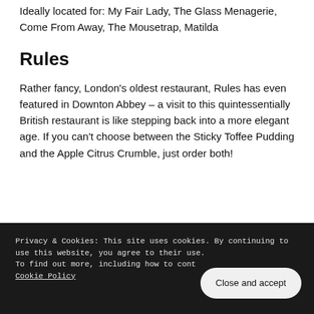Ideally located for: My Fair Lady, The Glass Menagerie, Come From Away, The Mousetrap, Matilda
Rules
Rather fancy, London's oldest restaurant, Rules has even featured in Downton Abbey – a visit to this quintessentially British restaurant is like stepping back into a more elegant age. If you can't choose between the Sticky Toffee Pudding and the Apple Citrus Crumble, just order both!
Privacy & Cookies: This site uses cookies. By continuing to use this website, you agree to their use.
To find out more, including how to cont… Cookie Policy